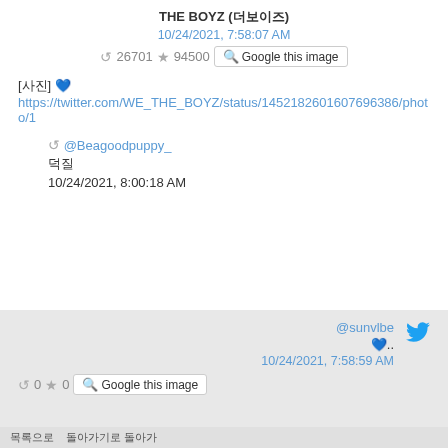THE BOYZ (더보이즈)
10/24/2021, 7:58:07 AM
↺ 26701 ★ 94500 🔍 Google this image
[사진] 💙
https://twitter.com/WE_THE_BOYZ/status/1452182601607696386/photo/1
↺ @Beagoodpuppy_
덕질
10/24/2021, 8:00:18 AM
@sunvlbe
💙..
10/24/2021, 7:58:59 AM
↺ 0 ★ 0 🔍 Google this image
목록으로   돌아가기로 돌아가